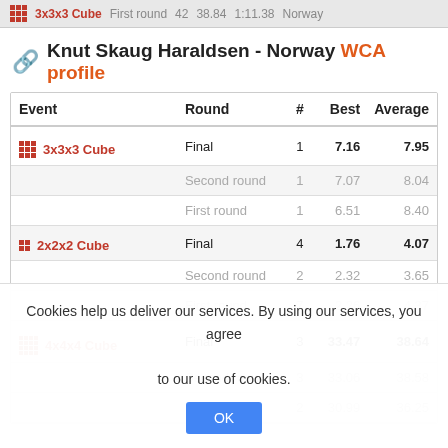3x3x3 Cube  First round  42  38.84  1:11.38  Norway
Knut Skaug Haraldsen - Norway WCA profile
| Event | Round | # | Best | Average |
| --- | --- | --- | --- | --- |
| 3x3x3 Cube | Final | 1 | 7.16 | 7.95 |
|  | Second round | 1 | 7.07 | 8.04 |
|  | First round | 1 | 6.51 | 8.40 |
| 2x2x2 Cube | Final | 4 | 1.76 | 4.07 |
|  | Second round | 2 | 2.32 | 3.65 |
|  | First round | 7 | 2.26 | 4.37 |
| 4x4x4 Cube | Final | 3 | 33.47 | 38.64 |
|  | Second round | 3 | 33.06 | 38.58 |
|  | First round | 2 | 30.99 | 36.25 |
Cookies help us deliver our services. By using our services, you agree to our use of cookies.